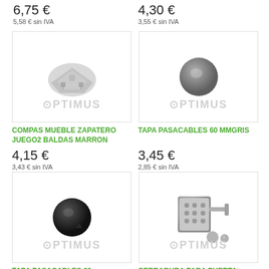6,75 €
5,58 € sin IVA
4,30 €
3,55 € sin IVA
[Figure (photo): Compas mueble zapatero juego 2 baldas marron - furniture compass hinge component, grey plastic piece]
[Figure (photo): Tapa pasacables 60 mm gris - grey round cable grommet cover]
COMPAS MUEBLE ZAPATERO JUEGO2 BALDAS MARRON
TAPA PASACABLES 60 MMGRIS
4,15 €
3,43 € sin IVA
3,45 €
2,85 € sin IVA
[Figure (photo): Tapa pasacables 60 mm negro - black round cable grommet cover]
[Figure (photo): Cerradura para puerta corredera 35mm LP plateado - sliding door lock 35mm silver, with lock body and accessories]
TAPA PASACABLES 60 MMNEGRO
CERRADURA PARA PUERTA CORREDERA 35MM LP PLATEADO